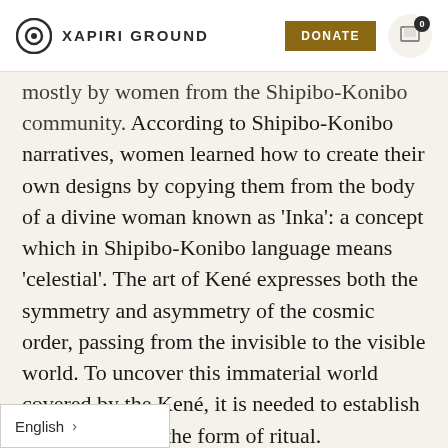XAPIRI GROUND | DONATE
mostly by women from the Shipibo-Konibo community. According to Shipibo-Konibo narratives, women learned how to create their own designs by copying them from the body of a divine woman known as 'Inka': a concept which in Shipibo-Konibo language means 'celestial'. The art of Kené expresses both the symmetry and asymmetry of the cosmic order, passing from the invisible to the visible world. To uncover this immaterial world covered by the Kené, it is needed to establish contact through the form of ritual.
Kené would be applied to all artefacts like clothing, ceramics, utensils, or the wooden ouses. During parties, people would nt their faces with Kené, and the